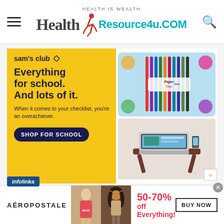[Figure (logo): Health Resource 4u.com website header logo with tagline 'HEALTH IS WEALTH', hamburger menu icon on the left, and search icon on the right]
[Figure (infographic): Sam's Club advertisement with yellow background on left side showing logo, headline 'Everything for school. And lots of it.', subtext 'When it comes to your checklist, you're an overachiever.', and 'SHOP FOR SCHOOL' button. Right side shows colorful pens and a laptop tray.]
[Figure (infographic): Aéropostale advertisement showing '50-70% off Everything!' in red with two female models and a 'BUY NOW' button]